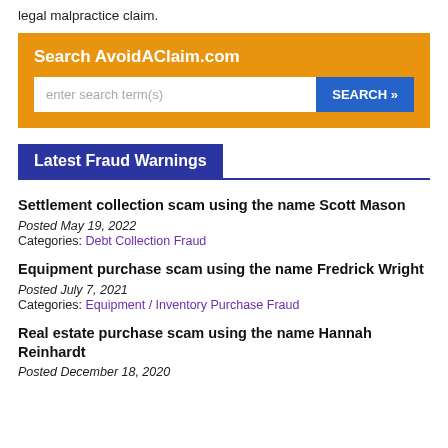legal malpractice claim.
[Figure (infographic): Search box for AvoidAClaim.com with orange background, text input field and blue SEARCH button]
Latest Fraud Warnings
Settlement collection scam using the name Scott Mason
Posted May 19, 2022
Categories: Debt Collection Fraud
Equipment purchase scam using the name Fredrick Wright
Posted July 7, 2021
Categories: Equipment / Inventory Purchase Fraud
Real estate purchase scam using the name Hannah Reinhardt
Posted December 18, 2020